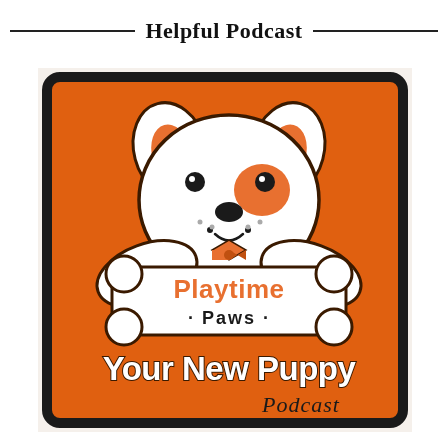Helpful Podcast
[Figure (logo): Playtime Paws Your New Puppy Podcast logo — cartoon white dog with orange ears and a bowtie, sitting behind a large white bone on an orange background. Text: 'Playtime Paws' on the bone and 'Your New Puppy Podcast' at the bottom.]